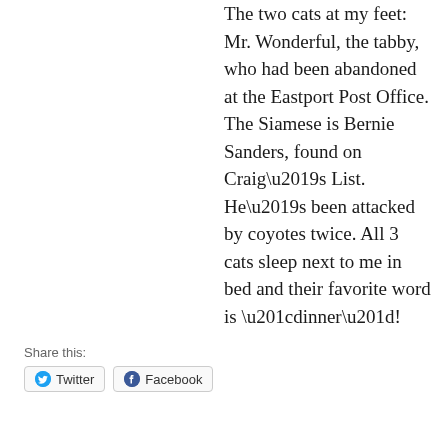The two cats at my feet: Mr. Wonderful, the tabby, who had been abandoned at the Eastport Post Office. The Siamese is Bernie Sanders, found on Craig’s List. He’s been attacked by coyotes twice. All 3 cats sleep next to me in bed and their favorite word is “dinner”!
Share this: